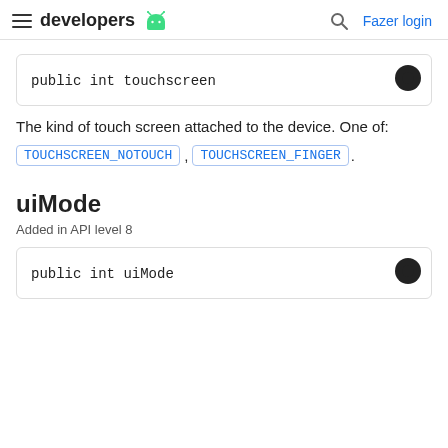developers | Fazer login
[Figure (other): Code block showing: public int touchscreen, with a theme toggle button]
The kind of touch screen attached to the device. One of: TOUCHSCREEN_NOTOUCH, TOUCHSCREEN_FINGER.
uiMode
Added in API level 8
[Figure (other): Code block showing: public int uiMode, with a theme toggle button]